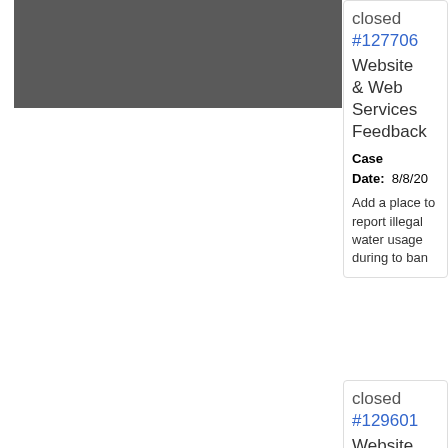[Figure (screenshot): Gray rectangle bar at top left of page, representing a redacted or image area]
closed #127706 Website & Web Services Feedback Case Date: 8/8/20 Add a place to report illegal water usage during to ban
closed #129601 Website & Web